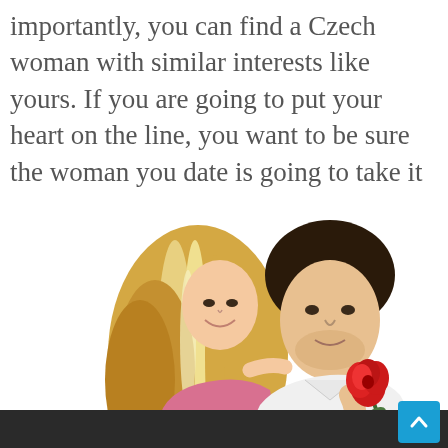importantly, you can find a Czech woman with similar interests like yours. If you are going to put your heart on the line, you want to be sure the woman you date is going to take it seriously.
[Figure (photo): A smiling blonde woman and a man holding a red rose facing each other against a white background]